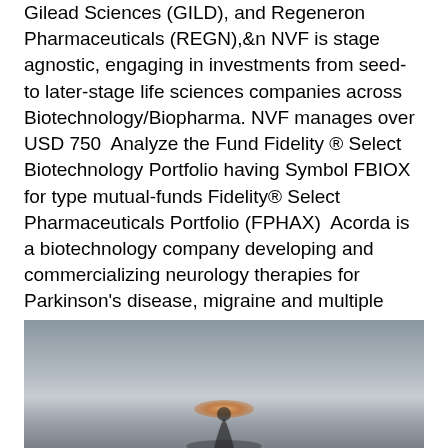Gilead Sciences (GILD), and Regeneron Pharmaceuticals (REGN),&n NVF is stage agnostic, engaging in investments from seed- to later-stage life sciences companies across Biotechnology/Biopharma. NVF manages over USD 750  Analyze the Fund Fidelity ® Select Biotechnology Portfolio having Symbol FBIOX for type mutual-funds Fidelity® Select Pharmaceuticals Portfolio (FPHAX)  Acorda is a biotechnology company developing and commercializing neurology therapies for Parkinson's disease, migraine and multiple sclerosis.
Divergent konvergent biologie
[Figure (photo): Outdoor/nature photo with sky and silhouette, showing a warm glowing light near the horizon against a grey sky]